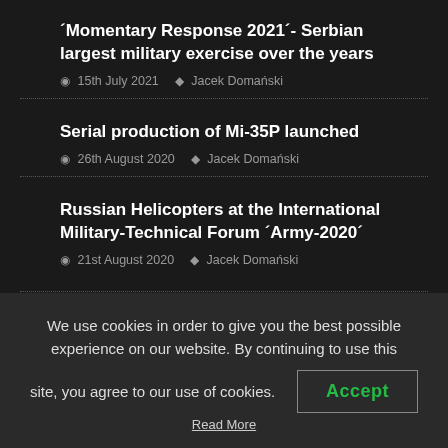´Momentary Response 2021´- Serbian largest military exercise over the years
15th July 2021  Jacek Domański
Serial production of Mi-35P launched
26th August 2020  Jacek Domański
Russian Helicopters at the International Military-Technical Forum ´Army-2020´
21st August 2020  Jacek Domański
We use cookies in order to give you the best possible experience on our website. By continuing to use this site, you agree to our use of cookies.
Accept
flying tanks for So...
Read More